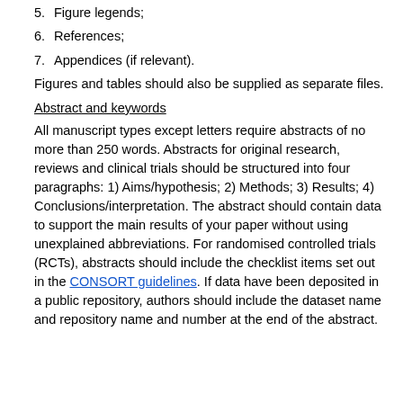5.  Figure legends;
6.  References;
7.  Appendices (if relevant).
Figures and tables should also be supplied as separate files.
Abstract and keywords
All manuscript types except letters require abstracts of no more than 250 words. Abstracts for original research, reviews and clinical trials should be structured into four paragraphs: 1) Aims/hypothesis; 2) Methods; 3) Results; 4) Conclusions/interpretation. The abstract should contain data to support the main results of your paper without using unexplained abbreviations. For randomised controlled trials (RCTs), abstracts should include the checklist items set out in the CONSORT guidelines. If data have been deposited in a public repository, authors should include the dataset name and repository name and number at the end of the abstract.